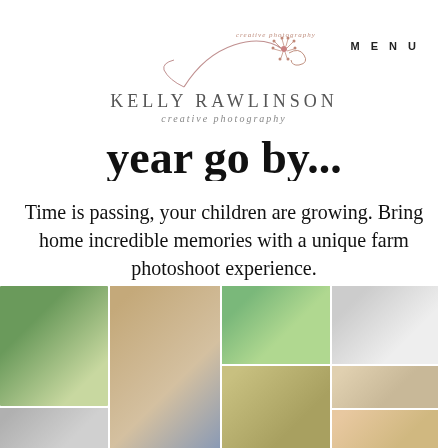[Figure (logo): Kelly Rawlinson Creative Photography logo with decorative dandelion/floral illustration in rose/pink tones above the brand name]
MENU
year go by...
Time is passing, your children are growing. Bring home incredible memories with a unique farm photoshoot experience.
[Figure (photo): Collage of family and children photoshoot images in outdoor/farm settings, including green meadow family portraits, sunset sky, child running in field, black and white portrait, child in corn, hands holding, and baby photo]